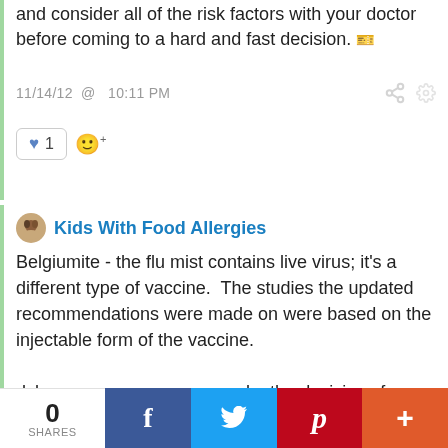and consider all of the risk factors with your doctor before coming to a hard and fast decision.
11/14/12 @ 10:11 PM
1
Kids With Food Allergies
Belgiumite - the flu mist contains live virus; it's a different type of vaccine.  The studies the updated recommendations were made on were based on the injectable form of the vaccine.

dvk - as a consumer, you make the decisions for your child. However, these guidelines are what the CDC
0
SHARES